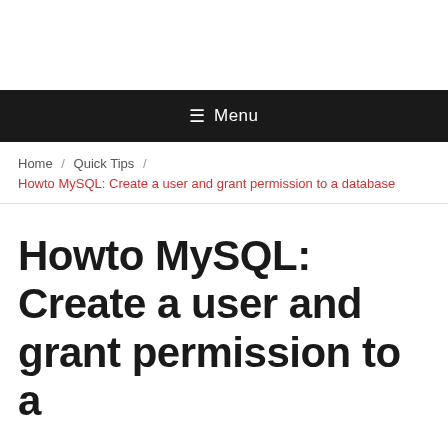≡ Menu
Home / Quick Tips / Howto MySQL: Create a user and grant permission to a database
Howto MySQL: Create a user and grant permission to a